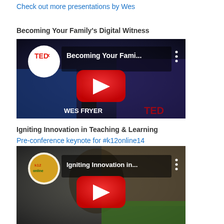Check out more presentations by Wes
Becoming Your Family's Digital Witness
[Figure (screenshot): YouTube video thumbnail for 'Becoming Your Fami...' TEDx talk by Wes Fryer with red play button]
Igniting Innovation in Teaching & Learning
Pre-conference keynote for #k12online14
[Figure (screenshot): YouTube video thumbnail for 'Igniting Innovation in...' k12online presentation with red play button]